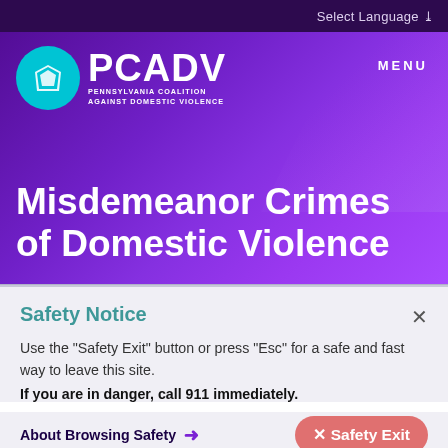Select Language
[Figure (logo): PCADV - Pennsylvania Coalition Against Domestic Violence logo with teal circle and keystone icon]
MENU
Misdemeanor Crimes of Domestic Violence
Safety Notice
Use the "Safety Exit" button or press "Esc" for a safe and fast way to leave this site.
If you are in danger, call 911 immediately.
About Browsing Safety →
× Safety Exit